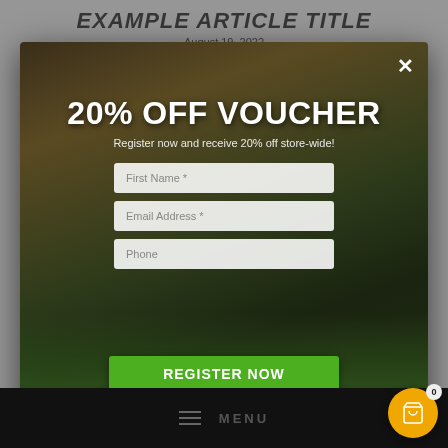EXAMPLE ARTICLE TITLE
August 19, 2022
[Figure (screenshot): A popup modal overlay on an article page. The modal shows a '20% OFF VOUCHER' promotional signup form with fields for First Name, Email Address, and Phone, set against a camping/tent background image. Below the form is a green 'REGISTER NOW' button. A close (×) button is in the top-right corner of the modal. The page background is a greyed-out article view with a black bottom navigation bar containing a hamburger menu and MENU text, and an orange cart icon with badge '0'.]